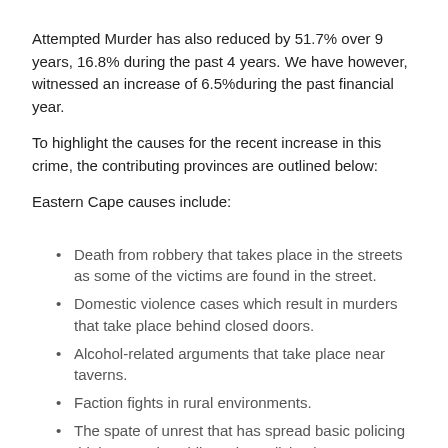Attempted Murder has also reduced by 51.7% over 9 years, 16.8% during the past 4 years. We have however, witnessed an increase of 6.5%during the past financial year.
To highlight the causes for the recent increase in this crime, the contributing provinces are outlined below:
Eastern Cape causes include:
Death from robbery that takes place in the streets as some of the victims are found in the street.
Domestic violence cases which result in murders that take place behind closed doors.
Alcohol-related arguments that take place near taverns.
Faction fights in rural environments.
The spate of unrest that has spread basic policing thinly as such Public Order Policing becomes constrained.
North West: